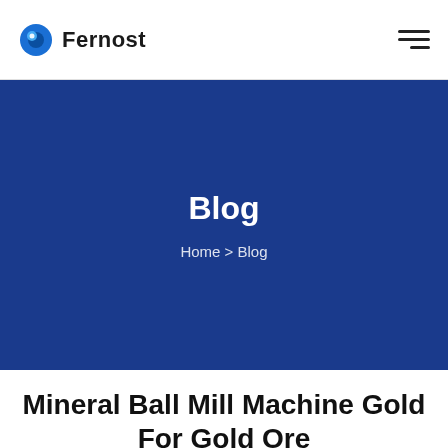Fernost
[Figure (logo): Fernost company logo with blue circular icon and 'Fernost' text, plus hamburger menu icon on the right]
Blog
Home > Blog
Mineral Ball Mill Machine Gold For Gold Ore